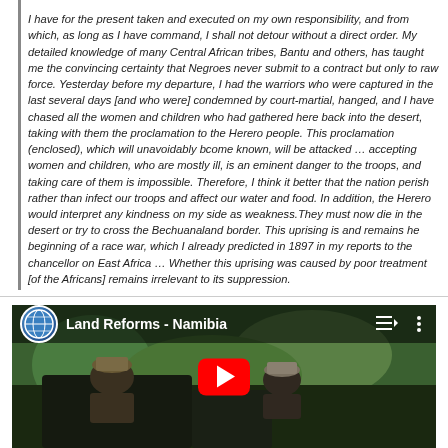I have for the present taken and executed on my own responsibility, and from which, as long as I have command, I shall not detour without a direct order. My detailed knowledge of many Central African tribes, Bantu and others, has taught me the convincing certainty that Negroes never submit to a contract but only to raw force. Yesterday before my departure, I had the warriors who were captured in the last several days [and who were] condemned by court-martial, hanged, and I have chased all the women and children who had gathered here back into the desert, taking with them the proclamation to the Herero people. This proclamation (enclosed), which will unavoidably bcome known, will be attacked … accepting women and children, who are mostly ill, is an eminent danger to the troops, and taking care of them is impossible. Therefore, I think it better that the nation perish rather than infect our troops and affect our water and food. In addition, the Herero would interpret any kindness on my side as weakness.They must now die in the desert or try to cross the Bechuanaland border. This uprising is and remains he beginning of a race war, which I already predicted in 1897 in my reports to the chancellor on East Africa … Whether this uprising was caused by poor treatment [of the Africans] remains irrelevant to its suppression.
[Figure (screenshot): YouTube video thumbnail for 'Land Reforms - Namibia' showing two men in a vehicle with a green outdoor background. Video player interface with play button visible.]